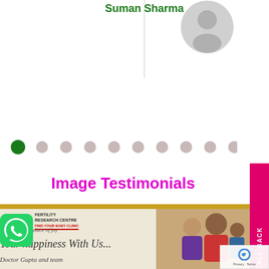Suman Sharma
[Figure (illustration): Gray avatar/silhouette icon of a person in a circular frame]
[Figure (infographic): Carousel dot indicators: one active green dot followed by nine gray dots]
Image Testimonials
[Figure (photo): Image testimonial collage: left side shows Fertility Research Centre certificate with WhatsApp icon, script text reading 'Your happiness With Us...' and 'Doctor Gupta and team'; right side shows a family photo of a man, woman and child.]
REQUEST A CALL BACK